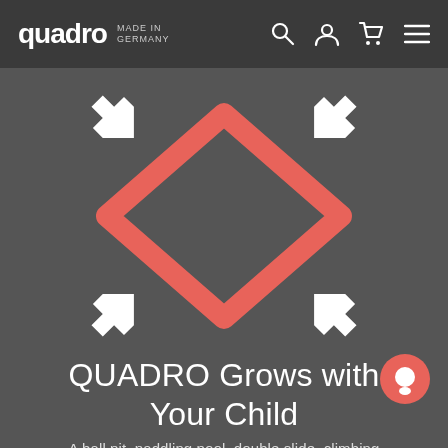quadro MADE IN GERMANY
[Figure (logo): Quadro logo icon: a red/coral diamond shape outline rotated 45 degrees, with four white expand/resize arrows at each corner (top-left, top-right, bottom-left, bottom-right) pointing diagonally outward]
QUADRO Grows with Your Child
A ball pit, paddling pool, double slide, climbing